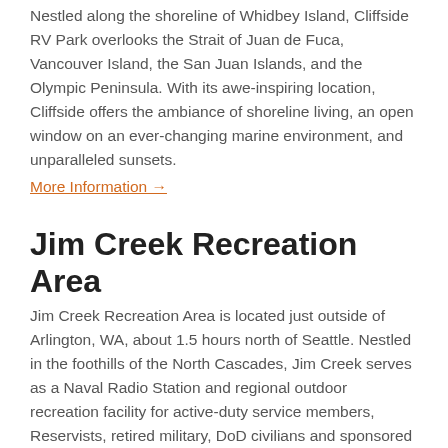Nestled along the shoreline of Whidbey Island, Cliffside RV Park overlooks the Strait of Juan de Fuca, Vancouver Island, the San Juan Islands, and the Olympic Peninsula. With its awe-inspiring location, Cliffside offers the ambiance of shoreline living, an open window on an ever-changing marine environment, and unparalleled sunsets.
More Information →
Jim Creek Recreation Area
Jim Creek Recreation Area is located just outside of Arlington, WA, about 1.5 hours north of Seattle. Nestled in the foothills of the North Cascades, Jim Creek serves as a Naval Radio Station and regional outdoor recreation facility for active-duty service members, Reservists, retired military, DoD civilians and sponsored guests.
More Information →
Navy Getaways Pacific Beach